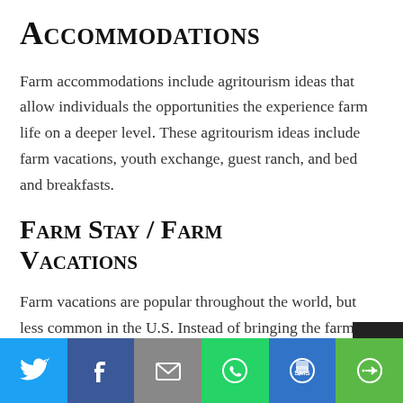Accommodations
Farm accommodations include agritourism ideas that allow individuals the opportunities the experience farm life on a deeper level. These agritourism ideas include farm vacations, youth exchange, guest ranch, and bed and breakfasts.
Farm Stay / Farm Vacations
Farm vacations are popular throughout the world, but less common in the U.S. Instead of bringing the farm to the city through farmer's markets, it's
[Figure (infographic): Social sharing bar with Twitter, Facebook, Email, WhatsApp, SMS, and More buttons]